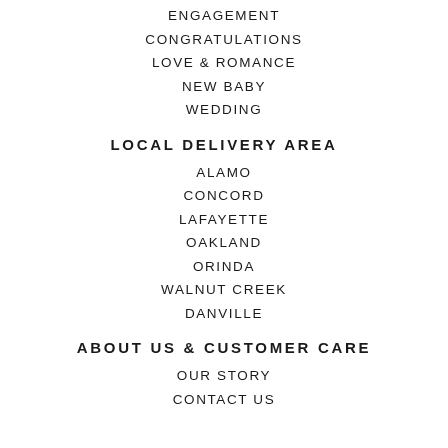ENGAGEMENT
CONGRATULATIONS
LOVE & ROMANCE
NEW BABY
WEDDING
LOCAL DELIVERY AREA
ALAMO
CONCORD
LAFAYETTE
OAKLAND
ORINDA
WALNUT CREEK
DANVILLE
ABOUT US & CUSTOMER CARE
OUR STORY
CONTACT US